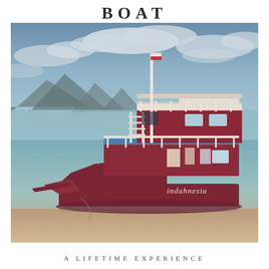BOAT
[Figure (photo): A dark red/maroon traditional Indonesian wooden boat named 'Indahnesia' anchored in calm shallow turquoise-green water near a sandy shore, with mountains in the background and a cloudy blue sky. The boat has two decks with white railings, a mast with a flag, and laundry hanging on the lower deck.]
A LIFETIME EXPERIENCE